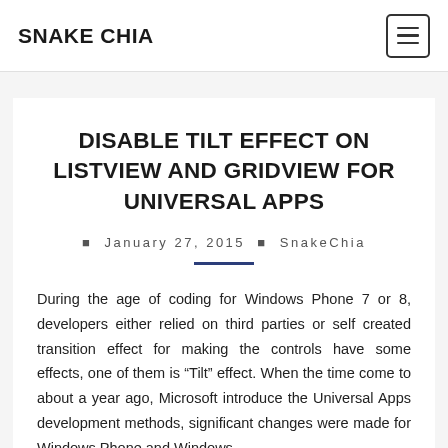SNAKE CHIA
DISABLE TILT EFFECT ON LISTVIEW AND GRIDVIEW FOR UNIVERSAL APPS
January 27, 2015  SnakeChia
During the age of coding for Windows Phone 7 or 8, developers either relied on third parties or self created transition effect for making the controls have some effects, one of them is “Tilt” effect. When the time come to about a year ago, Microsoft introduce the Universal Apps development methods, significant changes were made for Windows Phone and Windows